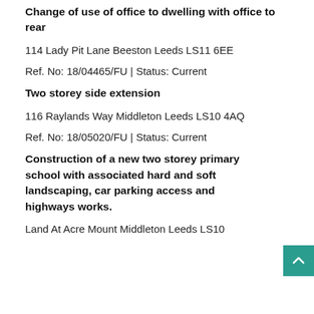Change of use of office to dwelling with office to rear
114 Lady Pit Lane Beeston Leeds LS11 6EE
Ref. No: 18/04465/FU | Status: Current
Two storey side extension
116 Raylands Way Middleton Leeds LS10 4AQ
Ref. No: 18/05020/FU | Status: Current
Construction of a new two storey primary school with associated hard and soft landscaping, car parking access and highways works.
Land At Acre Mount Middleton Leeds LS10